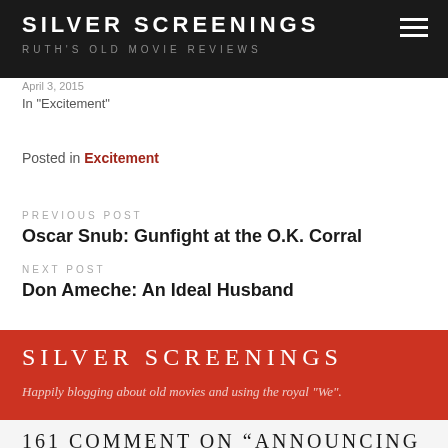SILVER SCREENINGS
RUTH'S OLD MOVIE REVIEWS
In "Excitement"
Posted in Excitement
PREVIOUS POST
Oscar Snub: Gunfight at the O.K. Corral
NEXT POST
Don Ameche: An Ideal Husband
SILVER SCREENINGS
Happily blogging about old movies and using the royal "We".
161 COMMENT ON “ANNOUNCING